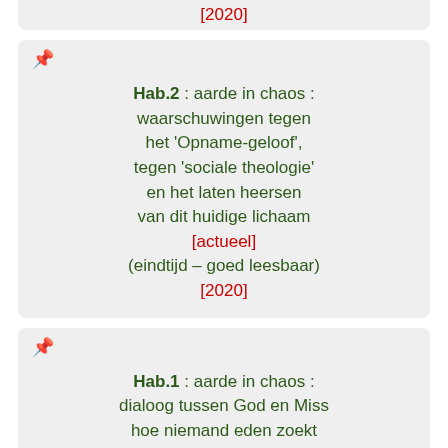[2020]
Hab.2 : aarde in chaos : waarschuwingen tegen het 'Opname-geloof', tegen 'sociale theologie' en het laten heersen van dit huidige lichaam [actueel] (eindtijd – goed leesbaar) [2020]
Hab.1 : aarde in chaos : dialoog tussen God en Miss hoe niemand eden zoekt + (Op.9) hoe de 200 miljoen geesten zullen komen [actueel]